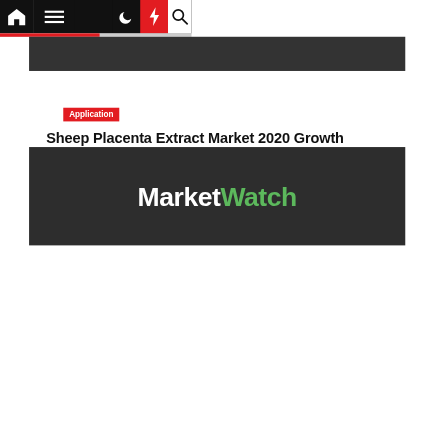Navigation bar with home, menu, moon, bolt, and search icons
Sheep Placenta Extract Market 2020 Growth Opportunities by Regions, To...
Application
Cristopher Centers  2 years ago
[Figure (logo): MarketWatch logo in white and green on dark background]